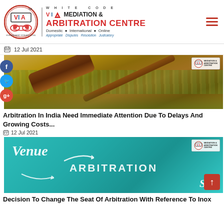[Figure (logo): VIA White Code Mediation & Arbitration Centre logo with circular emblem showing handshake figures, vertical divider, and brand name text]
📅 12 Jul 2021
[Figure (photo): Photo of a wooden judge's gavel resting on US dollar bills with a VIA Mediation & Arbitration Centre watermark logo in top right]
Arbitration In India Need Immediate Attention Due To Delays And Growing Costs...
📅 12 Jul 2021
[Figure (photo): Teal/turquoise themed graphic with the text 'Venue', an arrow, 'ARBITRATION' in large letters, and 'Seat' with arrows, plus VIA Mediation & Arbitration Centre watermark]
Decision To Change The Seat Of Arbitration With Reference To Inox